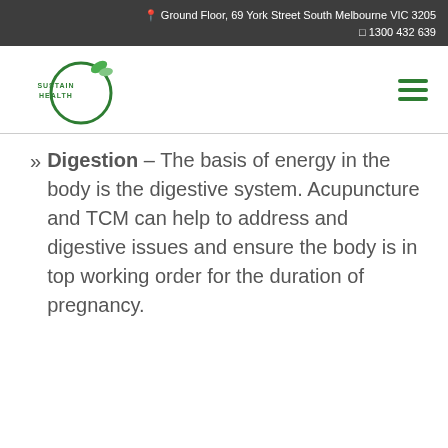Ground Floor, 69 York Street South Melbourne VIC 3205
1300 432 639
[Figure (logo): Sustain Health circular green logo with leaf motif and text SUSTAIN HEALTH]
Digestion – The basis of energy in the body is the digestive system. Acupuncture and TCM can help to address and digestive issues and ensure the body is in top working order for the duration of pregnancy.